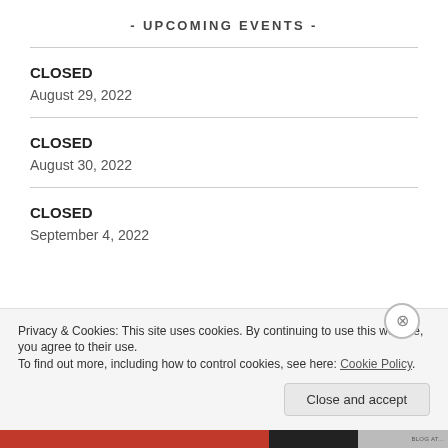- UPCOMING EVENTS -
CLOSED
August 29, 2022
CLOSED
August 30, 2022
CLOSED
September 4, 2022
Privacy & Cookies: This site uses cookies. By continuing to use this website, you agree to their use.
To find out more, including how to control cookies, see here: Cookie Policy
Close and accept